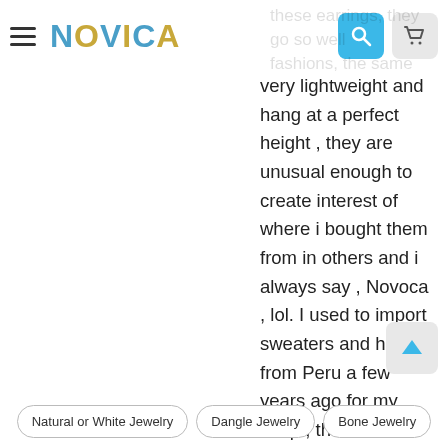NOVICA
very lightweight and hang at a perfect height , they are unusual enough to create interest of where i bought them from in others and i always say , Novoca , lol. I used to import sweaters and hats from Peru a few years ago for my shop , the colors were so vivid they drew customers attention to them immediately , i am now in a slow retirement sale situation being 73 years of age and i still love what i do , it gets into your blood , it will be hard to give up , thank you for the beautiful earrings , i wear them often.
Natural or White Jewelry
Dangle Jewelry
Bone Jewelry